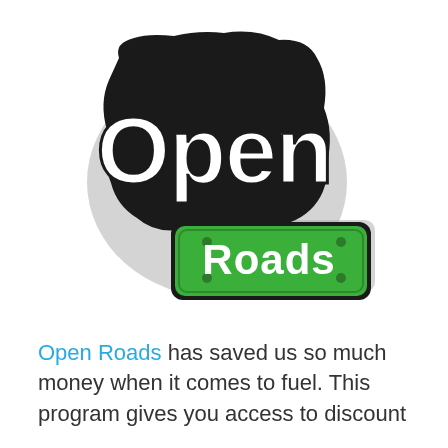[Figure (logo): Open Roads logo: stylized white cursive 'Open' text with black outline on a rounded black badge shape with grey shadow, overlapping a green rectangular sign with white bold text 'Roads']
Open Roads has saved us so much money when it comes to fuel. This program gives you access to discount